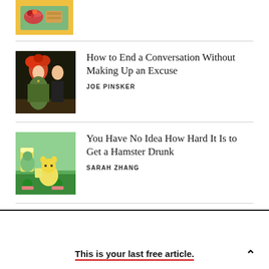[Figure (illustration): Partial view of a food tray illustration with fruit bowl and pastry on yellow background]
[Figure (illustration): Art nouveau style illustration of a woman with red hair in green dress and a man in formal attire]
How to End a Conversation Without Making Up an Excuse
JOE PINSKER
[Figure (illustration): Cartoon illustration of anthropomorphic animals at a bar drinking]
You Have No Idea How Hard It Is to Get a Hamster Drunk
SARAH ZHANG
This is your last free article.